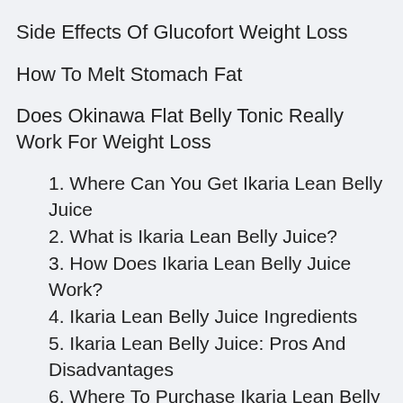Side Effects Of Glucofort Weight Loss
How To Melt Stomach Fat
Does Okinawa Flat Belly Tonic Really Work For Weight Loss
1. Where Can You Get Ikaria Lean Belly Juice
2. What is Ikaria Lean Belly Juice?
3. How Does Ikaria Lean Belly Juice Work?
4. Ikaria Lean Belly Juice Ingredients
5. Ikaria Lean Belly Juice: Pros And Disadvantages
6. Where To Purchase Ikaria Lean Belly Juice For The Lowest Cost?
7. Extra Inquiries On Ikaria Lean Belly Juice